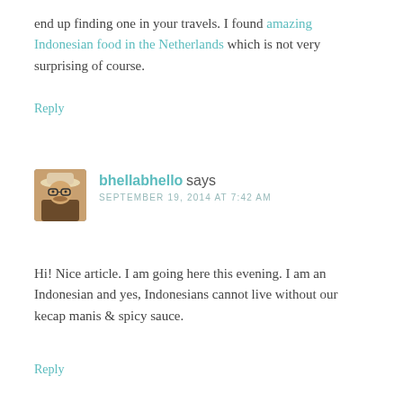end up finding one in your travels. I found amazing Indonesian food in the Netherlands which is not very surprising of course.
Reply
[Figure (photo): Avatar photo of commenter bhellabhello, showing a person wearing a hat and glasses]
bhellabhello says
SEPTEMBER 19, 2014 AT 7:42 AM
Hi! Nice article. I am going here this evening. I am an Indonesian and yes, Indonesians cannot live without our kecap manis & spicy sauce.
Reply